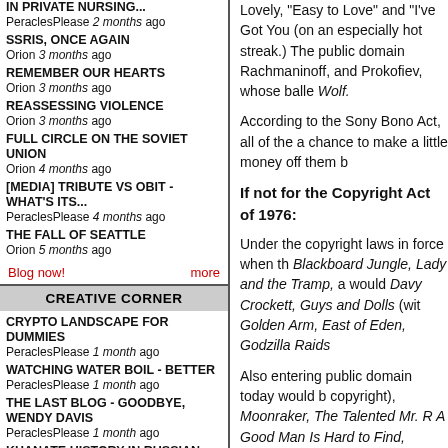IN PRIVATE NURSING... PeraclesPlease 2 months ago
SSRIS, ONCE AGAIN Orion 3 months ago
REMEMBER OUR HEARTS Orion 3 months ago
REASSESSING VIOLENCE Orion 3 months ago
FULL CIRCLE ON THE SOVIET UNION Orion 4 months ago
[MEDIA] TRIBUTE VS OBIT - WHAT'S ITS... PeraclesPlease 4 months ago
THE FALL OF SEATTLE Orion 5 months ago
Blog now!   more
CREATIVE CORNER
CRYPTO LANDSCAPE FOR DUMMIES PeraclesPlease 1 month ago
WATCHING WATER BOIL - BETTER PeraclesPlease 1 month ago
THE LAST BLOG - GOODBYE, WENDY DAVIS PeraclesPlease 1 month ago
KHANATE HISTORY IN RUSSIAN
Lovely, Easy to Love and I've Got You (on an especially hot streak.) The public domain... Rachmaninoff, and Prokofiev, whose balle... Wolf.
According to the Sony Bono Act, all of the... a chance to make a little money off them b...
If not for the Copyright Act of 1976:
Under the copyright laws in force when th... Blackboard Jungle, Lady and the Tramp, a... would Davy Crockett, Guys and Dolls (wit... Golden Arm, East of Eden, Godzilla Raids...
Also entering public domain today would b... copyright), Moonraker, The Talented Mr. R... A Good Man Is Hard to Find, William Gold... published in an English-speaking country... France, in English, in 1955.)
The musical public domain would be enrio... "Unchained Melody," "Blue Suede Shoes,... your speed, they'd be joined by a batch o... Small Hours of the Morning," and an old D...
However, federal law has subsequently de...